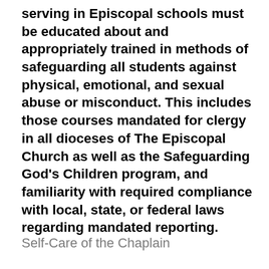serving in Episcopal schools must be educated about and appropriately trained in methods of safeguarding all students against physical, emotional, and sexual abuse or misconduct. This includes those courses mandated for clergy in all dioceses of The Episcopal Church as well as the Safeguarding God's Children program, and familiarity with required compliance with local, state, or federal laws regarding mandated reporting.
Self-Care of the Chaplain